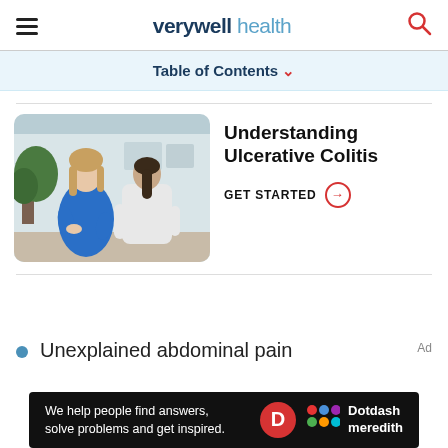verywell health
Table of Contents
[Figure (photo): A patient in a blue top holding her abdomen speaking with a doctor in a white coat, in a medical office setting with plants in background]
Understanding Ulcerative Colitis
GET STARTED →
Unexplained abdominal pain
[Figure (infographic): Ad banner: 'We help people find answers, solve problems and get inspired.' with Dotdash Meredith logo]